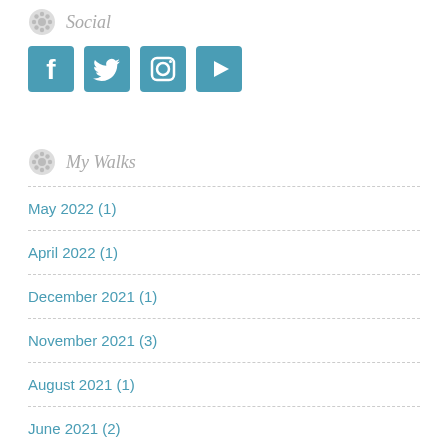Social
[Figure (illustration): Four social media icons: Facebook, Twitter, Instagram, YouTube — rendered as teal square buttons]
My Walks
May 2022 (1)
April 2022 (1)
December 2021 (1)
November 2021 (3)
August 2021 (1)
June 2021 (2)
May 2021 (2)